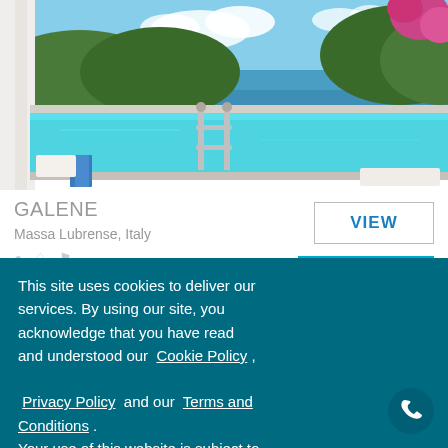[Figure (photo): Infinity pool with sea view, white columns, blue sky with clouds, Massa Lubrense Italy coastal setting]
GALENE
Massa Lubrense, Italy
VIEW
INQUIRE
This site uses cookies to deliver our services. By using our site, you acknowledge that you have read and understood our Cookie Policy , Privacy Policy and our Terms and Conditions . Your use of this website is subject to these policies and terms.
Got it!
[Figure (photo): Coastal cliffside view with green hills and blue sea]